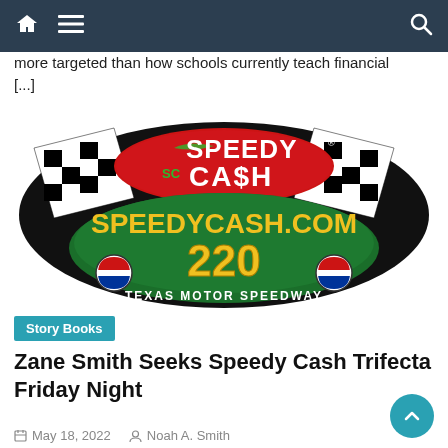Navigation bar with home, menu, and search icons
more targeted than how schools currently teach financial [...]
[Figure (logo): Speedy Cash logo with checkered flags, SPEEDYCASH.COM 220 Texas Motor Speedway branding]
Story Books
Zane Smith Seeks Speedy Cash Trifecta Friday Night
May 18, 2022   Noah A. Smith